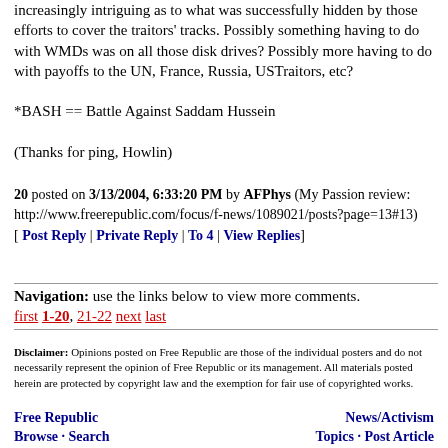increasingly intriguing as to what was successfully hidden by those efforts to cover the traitors' tracks. Possibly something having to do with WMDs was on all those disk drives? Possibly more having to do with payoffs to the UN, France, Russia, USTraitors, etc?

*BASH == Battle Against Saddam Hussein

(Thanks for ping, Howlin)
20 posted on 3/13/2004, 6:33:20 PM by AFPhys (My Passion review: http://www.freerepublic.com/focus/f-news/1089021/posts?page=13#13)
[ Post Reply | Private Reply | To 4 | View Replies]
Navigation: use the links below to view more comments.
first 1-20, 21-22 next last
Disclaimer: Opinions posted on Free Republic are those of the individual posters and do not necessarily represent the opinion of Free Republic or its management. All materials posted herein are protected by copyright law and the exemption for fair use of copyrighted works.
Free Republic   News/Activism
Browse · Search   Topics · Post Article
FreeRepublic, LLC, PO BOX 9771, FRESNO, CA 93794
FreeRepublic.com is powered by software copyright 2000-2008 John Robinson